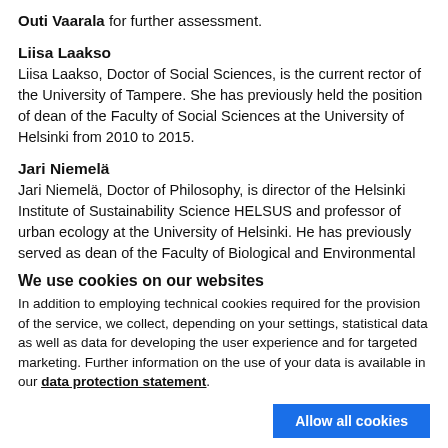Outi Vaarala for further assessment.
Liisa Laakso
Liisa Laakso, Doctor of Social Sciences, is the current rector of the University of Tampere. She has previously held the position of dean of the Faculty of Social Sciences at the University of Helsinki from 2010 to 2015.
Jari Niemelä
Jari Niemelä, Doctor of Philosophy, is director of the Helsinki Institute of Sustainability Science HELSUS and professor of urban ecology at the University of Helsinki. He has previously served as dean of the Faculty of Biological and Environmental Sciences from 2004 to 2017.
We use cookies on our websites
In addition to employing technical cookies required for the provision of the service, we collect, depending on your settings, statistical data as well as data for developing the user experience and for targeted marketing. Further information on the use of your data is available in our data protection statement.